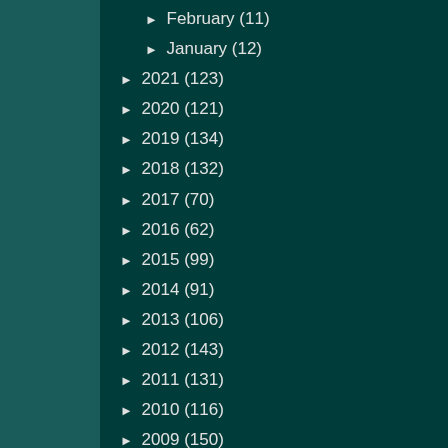► February (11)
► January (12)
► 2021 (123)
► 2020 (121)
► 2019 (134)
► 2018 (132)
► 2017 (70)
► 2016 (62)
► 2015 (99)
► 2014 (91)
► 2013 (106)
► 2012 (143)
► 2011 (131)
► 2010 (116)
► 2009 (150)